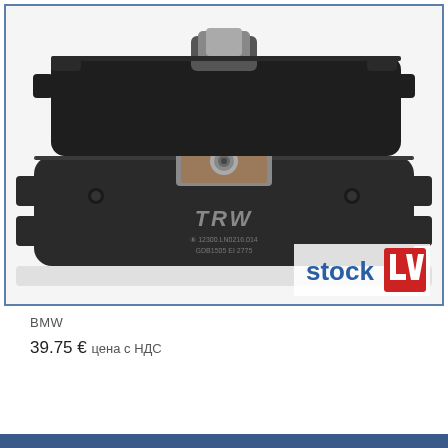[Figure (photo): Photo of TRW brand brake pads for BMW, shown from the back side. The pads are dark grey/black with metal shims and a spring clip. The TRW logo is printed on the friction material. In the bottom right corner of the image is a 'stock LV' watermark logo with red background. The image is framed with a blue border.]
BMW
39.75 € цена с НДС